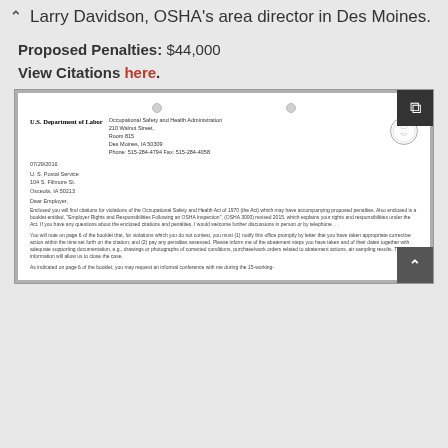Larry Davidson, OSHA's area director in Des Moines.
Proposed Penalties: $44,000
View Citations here.
[Figure (screenshot): Scanned OSHA letter from U.S. Department of Labor, Occupational Safety and Health Administration, 210 Walnut Street, Room 815, Des Moines, IA 50309. Dated 07/29/2016, addressed to U.S. Postal Service, 104 S. Fillmore St., Osceola, IA 50213. Letter begins 'Dear Employer,' and discusses citations for violations of the Occupational Safety and Health Act of 1970.]